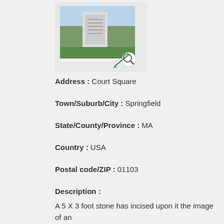[Figure (photo): Photo of a memorial stone monument outdoors with a magnifying glass icon overlay]
Address : Court Square
Town/Suburb/City : Springfield
State/County/Province : MA
Country : USA
Postal code/ZIP : 01103
Description :
A 5 X 3 foot stone has incised upon it the image of an eagle holding arrows in its talons. It was dedicated here on November 11,1995, in memory of the Springfield residents who served in WWI, WWII and the Korean War.
Spruce Street Bridge Plaque - Paterson